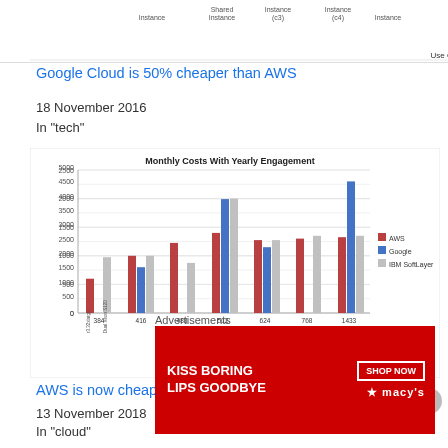[Figure (bar-chart): Partial bar chart stub at top of page showing use case comparison]
Google Cloud is 50% cheaper than AWS
18 November 2016
In "tech"
[Figure (grouped-bar-chart): Monthly Costs With Yearly Engagement]
AWS is now cheaper than IBM SoftLayer
13 November 2018
In "cloud"
Advertisements
[Figure (photo): Macy's lipstick advertisement - KISS BORING LIPS GOODBYE - SHOP NOW]